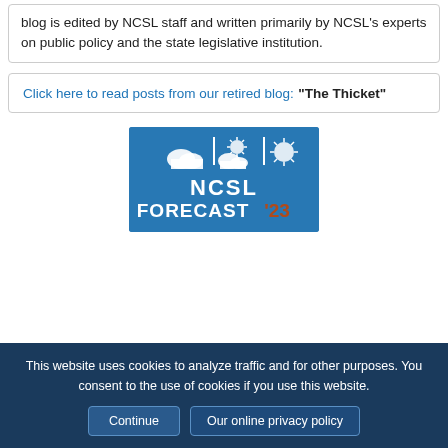blog is edited by NCSL staff and written primarily by NCSL's experts on public policy and the state legislative institution.
Click here to read posts from our retired blog: "The Thicket"
[Figure (logo): NCSL Forecast '23 banner with weather icons (cloud, partly cloudy, sun) on blue background, white text 'NCSL FORECAST' and brown/orange text ''23']
This website uses cookies to analyze traffic and for other purposes. You consent to the use of cookies if you use this website. Continue  Our online privacy policy